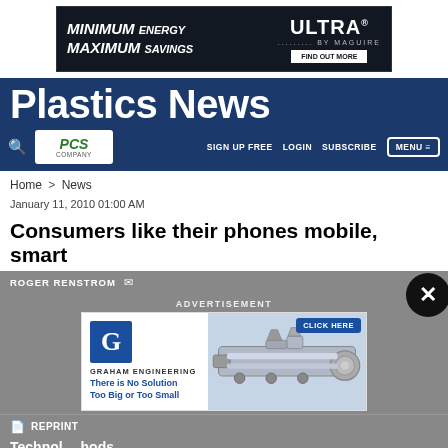[Figure (photo): Top advertisement banner for ULTRA by Maguire: MINIMUM ENERGY MAXIMUM SAVINGS with FIND OUT MORE button]
Plastics News
[Figure (logo): PCS Company logo with navigation links: SIGN UP FREE, LOGIN, SUBSCRIBE, MENU]
Home > News
January 11, 2010 01:00 AM
Consumers like their phones mobile, smart
ROGER RENSTROM
[Figure (screenshot): Advertisement overlay popup for Graham Engineering with CLICK HERE button and slogan: There is No Solution Too Big or Too Small]
REPRINT
Technol... hods